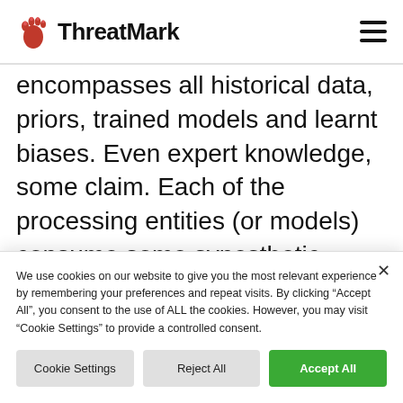ThreatMark
encompasses all historical data, priors, trained models and learnt biases. Even expert knowledge, some claim. Each of the processing entities (or models) consume some synesthetic combination of incoming data streams. After doing their magic and
We use cookies on our website to give you the most relevant experience by remembering your preferences and repeat visits. By clicking "Accept All", you consent to the use of ALL the cookies. However, you may visit "Cookie Settings" to provide a controlled consent.
Cookie Settings | Reject All | Accept All